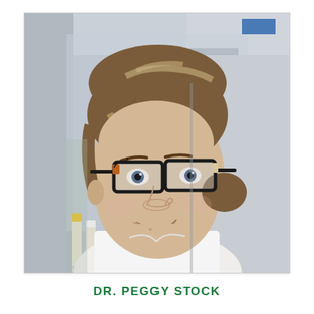[Figure (photo): Headshot photo of Dr. Peggy Stock, a woman with brown and blonde highlighted hair pulled back, wearing black-rimmed rectangular glasses and a white lab coat, photographed in a laboratory setting with pipettes and lab equipment visible in the background.]
DR. PEGGY STOCK